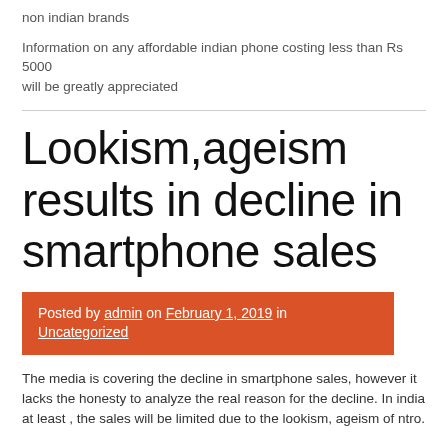non indian brands
Information on any affordable indian phone costing less than Rs 5000 will be greatly appreciated
Lookism,ageism results in decline in smartphone sales
Posted by admin on February 1, 2019 in Uncategorized
The media is covering the decline in smartphone sales, however it lacks the honesty to analyze the real reason for the decline. In india at least , the sales will be limited due to the lookism, ageism of ntro.